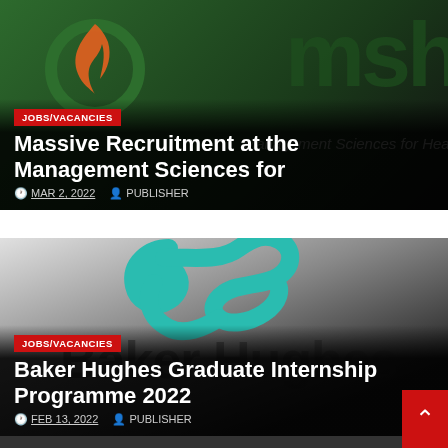[Figure (screenshot): MSH (Management Sciences for Health) logo with green circle and orange flame icon on dark green background]
JOBS/VACANCIES
Massive Recruitment at the Management Sciences for
MAR 2, 2022   PUBLISHER
[Figure (logo): Baker Hughes logo - teal/green abstract ribbon/DNA helix symbol above large Baker Hughes text on grey-to-dark gradient background]
JOBS/VACANCIES
Baker Hughes Graduate Internship Programme 2022
FEB 13, 2022   PUBLISHER